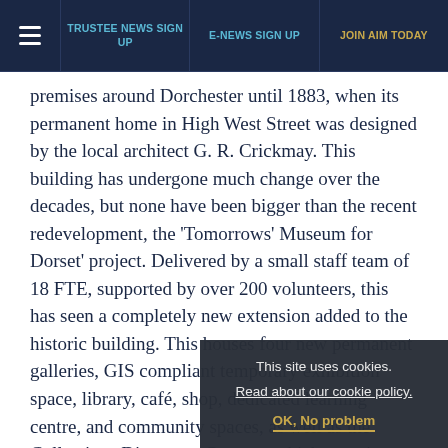≡  TRUSTEE NEWS SIGN UP  |  E-NEWS SIGN UP  |  JOIN AIM TODAY
premises around Dorchester until 1883, when its permanent home in High West Street was designed by the local architect G. R. Crickmay. This building has undergone much change over the decades, but none have been bigger than the recent redevelopment, the 'Tomorrows' Museum for Dorset' project. Delivered by a small staff team of 18 FTE, supported by over 200 volunteers, this has seen a completely new extension added to the historic building. This houses four new permanent galleries, GIS compliant temporary exhibition space, library, café, shop, dedicated learning centre, and community spaces, as well as the Collections Discovery Centre – which contains a publicly viewable store and conservation studio.
As a result, more of the Museum's internationally significant collections of archaeology, art, literature, be it social and social history are on display than ever before. Reimagined
This site uses cookies.
Read about our cookie policy.
OK, No problem